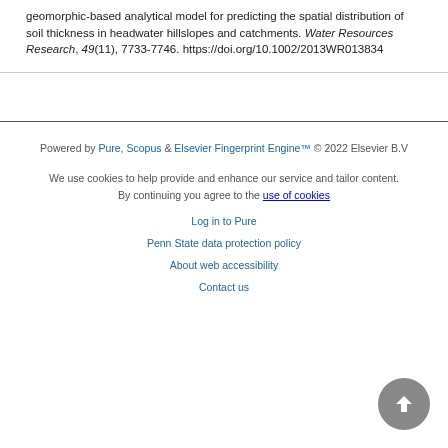geomorphic-based analytical model for predicting the spatial distribution of soil thickness in headwater hillslopes and catchments. Water Resources Research, 49(11), 7733-7746. https://doi.org/10.1002/2013WR013834
Powered by Pure, Scopus & Elsevier Fingerprint Engine™ © 2022 Elsevier B.V

We use cookies to help provide and enhance our service and tailor content. By continuing you agree to the use of cookies

Log in to Pure

Penn State data protection policy

About web accessibility

Contact us